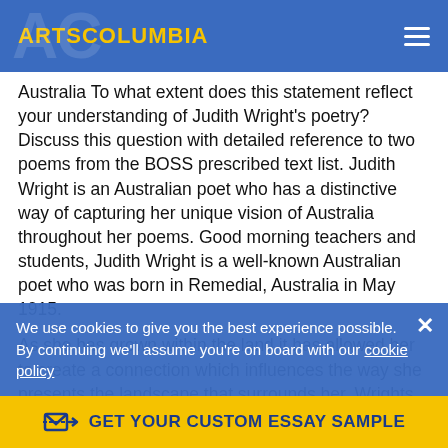ARTSCOLUMBIA
Australia To what extent does this statement reflect your understanding of Judith Wright's poetry? Discuss this question with detailed reference to two poems from the BOSS prescribed text list. Judith Wright is an Australian poet who has a distinctive way of capturing her unique vision of Australia throughout her poems. Good morning teachers and students, Judith Wright is a well-known Australian poet who was born in Remedial, Australia in May 1915.
As she has grown within the land it has allowed her to create a connection which influences the way she presents the landscape that surrounds her. Wrights poems are famous for her inimitable way of capturing the relationships between mankind and the
We use cookies to give you the best experience possible. By continuing we'll assume you're on board with our cookie policy
GET YOUR CUSTOM ESSAY SAMPLE